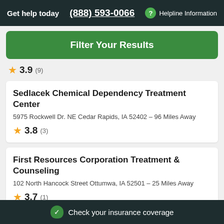Get help today  (888) 593-0066  ? Helpline Information
Filter Your Results
★ 3.9 (9)
Sedlacek Chemical Dependency Treatment Center
5975 Rockwell Dr. NE Cedar Rapids, IA 52402 – 96 Miles Away
★ 3.8 (3)
First Resources Corporation Treatment & Counseling
102 North Hancock Street Ottumwa, IA 52501 – 25 Miles Away
★ 3.7 (1)
Check your insurance coverage